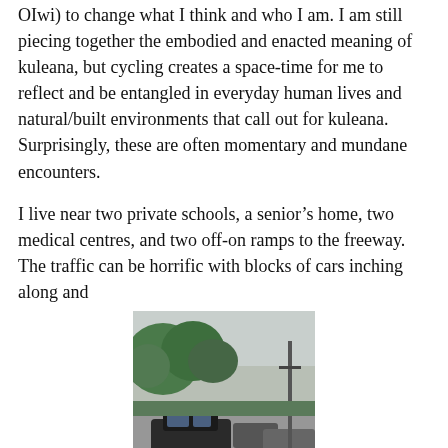OIwi) to change what I think and who I am. I am still piecing together the embodied and enacted meaning of kuleana, but cycling creates a space-time for me to reflect and be entangled in everyday human lives and natural/built environments that call out for kuleana. Surprisingly, these are often momentary and mundane encounters.
I live near two private schools, a senior’s home, two medical centres, and two off-on ramps to the freeway. The traffic can be horrific with blocks of cars inching along and
[Figure (photo): A street scene showing cars on a road with a pedestrian crosswalk (zebra crossing) in the foreground. Trees line the road on the left, and a utility pole is visible on the right. The sky is overcast.]
adjusting for parents dropping children off at school,